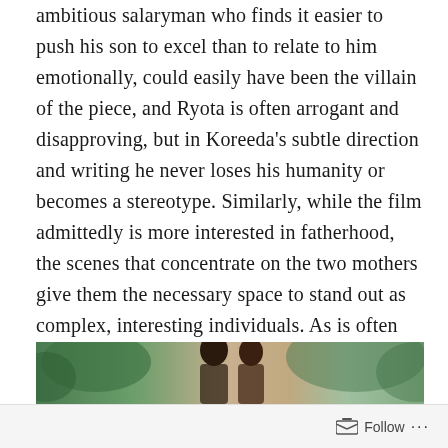ambitious salaryman who finds it easier to push his son to excel than to relate to him emotionally, could easily have been the villain of the piece, and Ryota is often arrogant and disapproving, but in Koreeda's subtle direction and writing he never loses his humanity or becomes a stereotype. Similarly, while the film admittedly is more interested in fatherhood, the scenes that concentrate on the two mothers give them the necessary space to stand out as complex, interesting individuals. As is often the case in Koreeda's films, though, it's especially the child actors that amaze: they are thoroughly believable and real, with none of the preciousness or precocious quality that even good child actors display all too often.
[Figure (photo): Bottom strip of a film still showing two people outdoors with green foliage in the background]
Follow